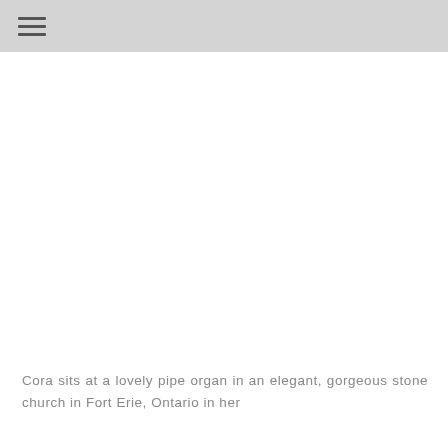☰
[Figure (photo): A large white/blank image area representing a photograph of Cora at a pipe organ in a stone church in Fort Erie, Ontario]
Cora sits at a lovely pipe organ in an elegant, gorgeous stone church in Fort Erie, Ontario in her